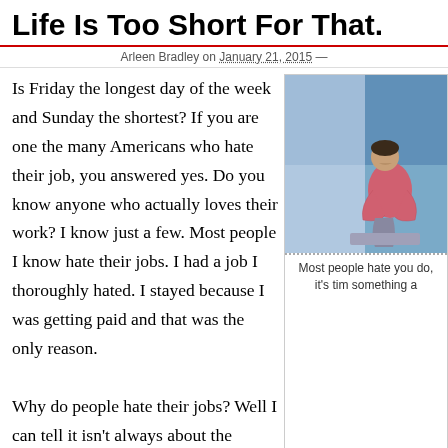Life Is Too Short For That.
Arleen Bradley on January 21, 2015 —
Is Friday the longest day of the week and Sunday the shortest? If you are one the many Americans who hate their job, you answered yes. Do you know anyone who actually loves their work? I know just a few. Most people I know hate their jobs. I had a job I thoroughly hated. I stayed because I was getting paid and that was the only reason.

Why do people hate their jobs? Well I can tell it isn't always about the money because a raise will only make them happy for a short while. will be back to hating their job. I was in love with the work tha doing because it was in a field that didn't interest me. And the micro-manager who was rude to everyone.
[Figure (photo): Person sitting hunched over on a surface, appearing stressed or dejected, wearing a pink/red top, against a blue geometric background]
Most people hate you do, it's tim something a